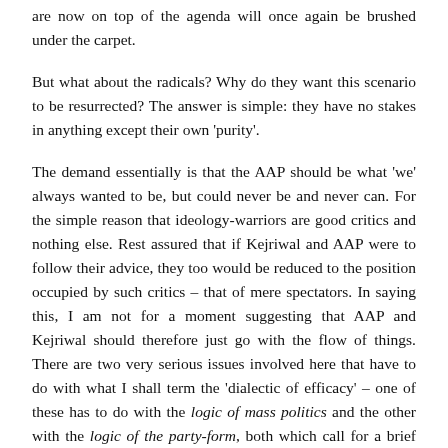are now on top of the agenda will once again be brushed under the carpet.
But what about the radicals? Why do they want this scenario to be resurrected? The answer is simple: they have no stakes in anything except their own 'purity'.
The demand essentially is that the AAP should be what 'we' always wanted to be, but could never be and never can. For the simple reason that ideology-warriors are good critics and nothing else. Rest assured that if Kejriwal and AAP were to follow their advice, they too would be reduced to the position occupied by such critics – that of mere spectators. In saying this, I am not for a moment suggesting that AAP and Kejriwal should therefore just go with the flow of things. There are two very serious issues involved here that have to do with what I shall term the 'dialectic of efficacy' – one of these has to do with the logic of mass politics and the other with the logic of the party-form, both which call for a brief discussion.